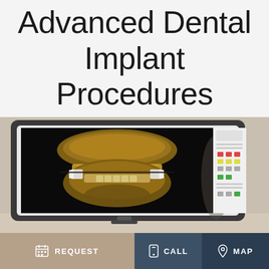Advanced Dental Implant Procedures
[Figure (photo): A monitor displaying a 3D CT scan rendering of a human jaw with dental implants visible, shown as a brown/golden volumetric skull image on a black background, with a software interface panel on the right side of the screen.]
REQUEST   CALL   MAP